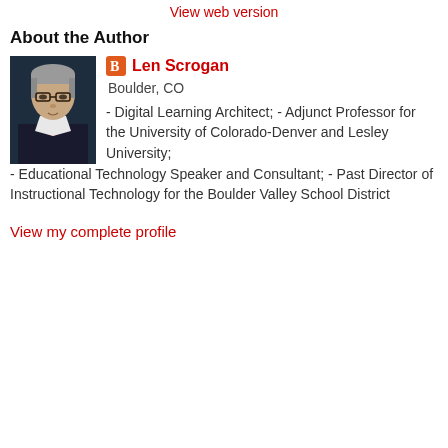View web version
About the Author
[Figure (photo): Headshot photo of Len Scrogan, a man with gray hair and glasses wearing a dark suit and red tie, dark blue background.]
Len Scrogan
Boulder, CO
- Digital Learning Architect; - Adjunct Professor for the University of Colorado-Denver and Lesley University; - Educational Technology Speaker and Consultant; - Past Director of Instructional Technology for the Boulder Valley School District
View my complete profile